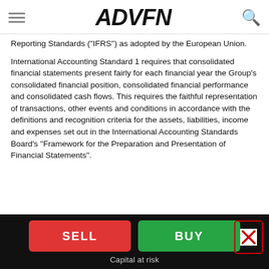ADVFN
Reporting Standards ("IFRS") as adopted by the European Union.
International Accounting Standard 1 requires that consolidated financial statements present fairly for each financial year the Group's consolidated financial position, consolidated financial performance and consolidated cash flows. This requires the faithful representation of transactions, other events and conditions in accordance with the definitions and recognition criteria for the assets, liabilities, income and expenses set out in the International Accounting Standards Board's "Framework for the Preparation and Presentation of Financial Statements".
SELL  BUY  Capital at risk